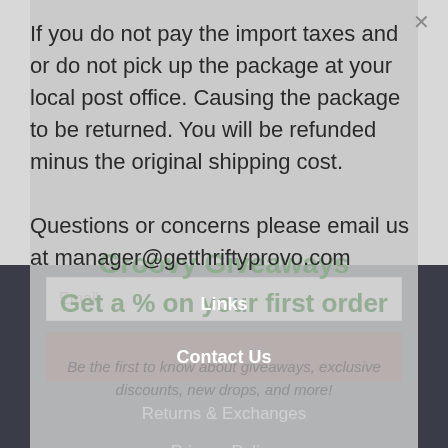If you do not pay the import taxes and or do not pick up the package at your local post office. Causing the package to be returned. You will be refunded minus the original shipping cost.
Questions or concerns please email us at manager@getthriftyprovo.com
Links
Contact Us
Returns & Exchanges
Privacy Policy
Terms & Conditions
Shipping Damage